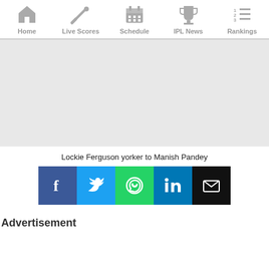Home | Live Scores | Schedule | IPL News | Rankings
[Figure (other): Gray advertisement/content area]
Lockie Ferguson yorker to Manish Pandey
[Figure (infographic): Social share buttons: Facebook, Twitter, WhatsApp, LinkedIn, Email]
Advertisement